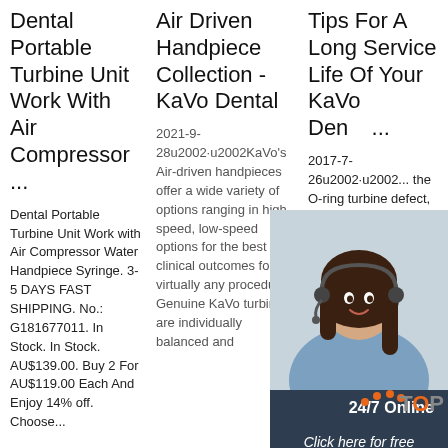Dental Portable Turbine Unit Work With Air Compressor ...
Dental Portable Turbine Unit Work with Air Compressor Water Handpiece Syringe. 3-5 DAYS FAST SHIPPING. No.: G181677011. In Stock. In Stock. AU$139.00. Buy 2 For AU$119.00 Each And Enjoy 14% off. Choose...
Air Driven Handpiece Collection - KaVo Dental
2021-9-28u2002·u2002KaVo's Air-driven handpieces offer a wide variety of options ranging in high-speed, low-speed options for the best clinical outcomes for virtually any procedure. Genuine KaVo turbines are individually balanced and
Tips For A Long Service Life Of Your KaVo Dental...
2017-7-26u2002·u2002... the O-ring turbine defect, gets into bearing turbine rotor and, via the return air duct, into the treatment centre. A defective O-ring on the cannula of the 3-function ...
[Figure (infographic): Customer service chat widget with woman wearing headset, dark navy background, '24/7 Online' text, 'Click here for free chat!' text, and orange 'QUOTATION' button]